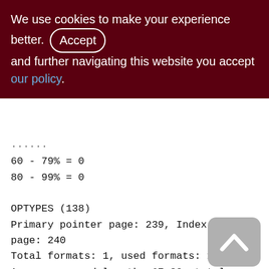We use cookies to make your experience better. By accepting and further navigating this website you accept our policy.
60 - 79% = 0
80 - 99% = 0
OPTYPES (138)
Primary pointer page: 239, Index root page: 240
Total formats: 1, used formats: 1
Average record length: 67.89, total records: 9
Average version length: 0.00, total versions: 0, max versions: 0
Average fragment length: 0.00, total